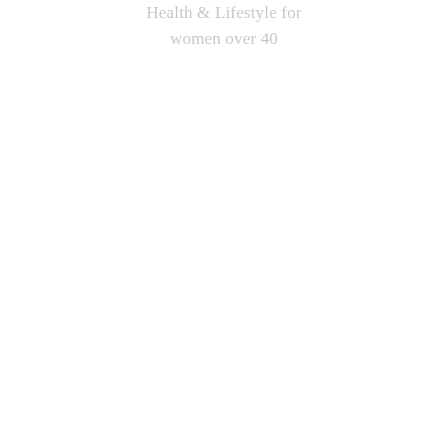Health & Lifestyle for women over 40